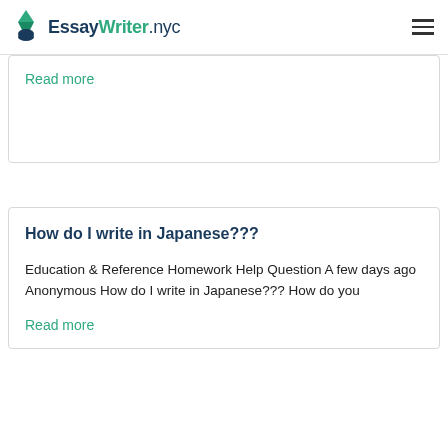EssayWriter.nyc
Read more
How do I write in Japanese???
Education & Reference Homework Help Question A few days ago Anonymous How do I write in Japanese??? How do you
Read more